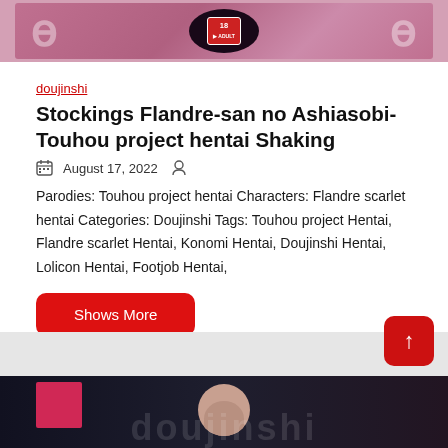[Figure (illustration): Top banner image with pink/rose background, decorative swirls, an 18+ badge, and a dark oval shape in the center]
doujinshi
Stockings Flandre-san no Ashiasobi-Touhou project hentai Shaking
August 17, 2022
Parodies: Touhou project hentai Characters: Flandre scarlet hentai Categories: Doujinshi Tags: Touhou project Hentai, Flandre scarlet Hentai, Konomi Hentai, Doujinshi Hentai, Lolicon Hentai, Footjob Hentai,
Shows More
[Figure (illustration): Bottom partial image showing a dark background with a person's face/head partially visible, pink box element, and large decorative text overlay]